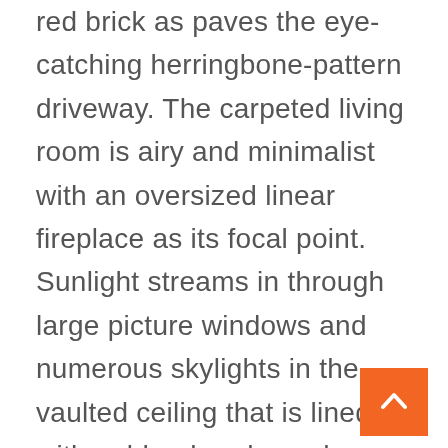red brick as paves the eye-catching herringbone-pattern driveway. The carpeted living room is airy and minimalist with an oversized linear fireplace as its focal point. Sunlight streams in through large picture windows and numerous skylights in the vaulted ceiling that is lined with golden-hued wood planks. Polished travertine flooring leads into the kitchen, which mixes wood cabinets with decorative pops of sky-blue paint, the latter of which also colors the thick beam that runs along the peak of the cathedral ceiling. The dash-of-blue motif crops up throughout the dwelling, most notably in the laundry room and powder room. One of the main house's bedrooms has been converted to an oak-paneled family room with a full bar and built-in media equipment, while the light-filled master suite offers a fireplace, a private garden, a Zen-inspired bathroom and a huge, lavishly fitted walk-in closet.